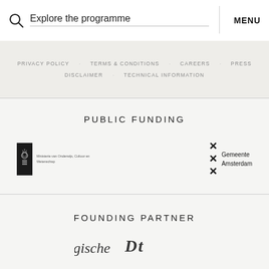Explore the programme   MENU
PRIVACY POLICY
TERMS & CONDITIONS
CAREERS
PRESS
DISCLAIMER
TECHNICAL INFORMATION
PUBLIC FUNDING
[Figure (logo): Ministerie van Onderwijs, Cultuur en Wetenschap logo — dark badge with Dutch royal coat of arms and text]
[Figure (logo): Gemeente Amsterdam logo — three X crosses with text 'Gemeente Amsterdam']
FOUNDING PARTNER
[Figure (logo): Partial founding partner logo at bottom of page (partially cut off)]